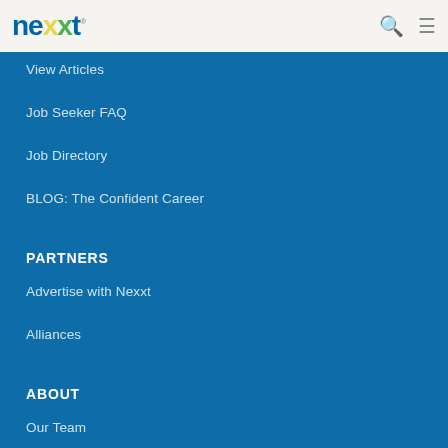nexxt [logo with search and menu icons]
View Articles
Job Seeker FAQ
Job Directory
BLOG: The Confident Career
PARTNERS
Advertise with Nexxt
Alliances
ABOUT
Our Team
Press Releases
Careers with Nexxt